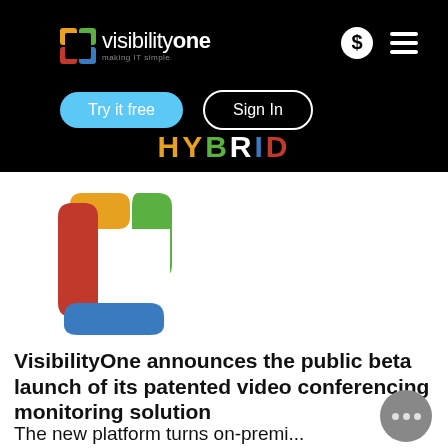[Figure (screenshot): VisibilityOne website header on black background with logo, dollar sign icon, hamburger menu, 'Try it free' and 'Sign In' buttons, and 'HYBRID' text in multicolor]
[Figure (logo): VisibilityOne square logo in red, blue, green, and orange colors]
VisibilityOne announces the public beta launch of its patented video conferencing monitoring solution
The new platform turns on-premi... and cloud-based video conference